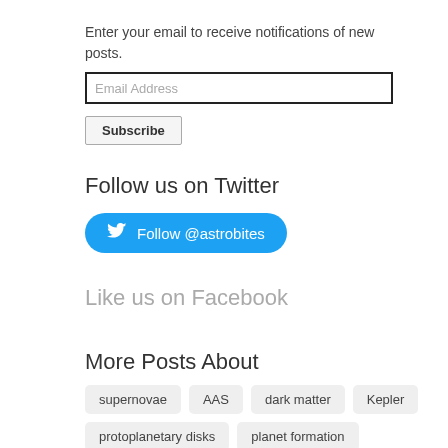Enter your email to receive notifications of new posts.
Email Address
Subscribe
Follow us on Twitter
Follow @astrobites
Like us on Facebook
More Posts About
supernovae
AAS
dark matter
Kepler
protoplanetary disks
planet formation
simulations
black holes
AGN